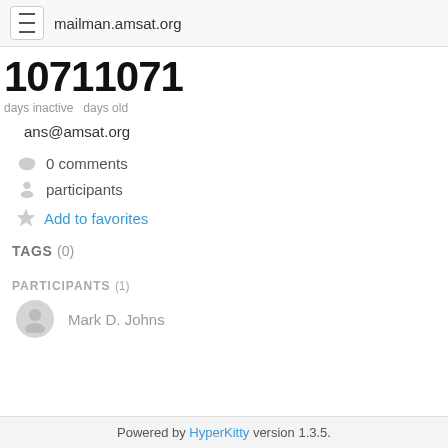mailman.amsat.org
10711071
days inactive  days old
ans@amsat.org
0 comments
participants
Add to favorites
TAGS (0)
PARTICIPANTS (1)
Mark D. Johns
Powered by HyperKitty version 1.3.5.